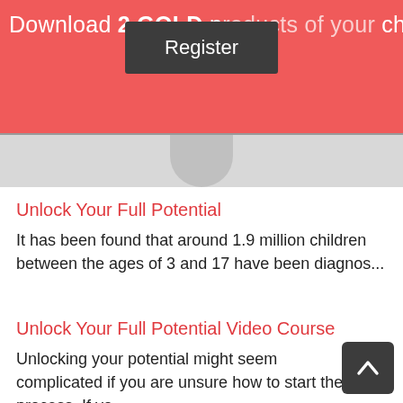Download 2 GOLD products of your choice for FREE
[Figure (screenshot): Register button tooltip/popup overlay on red banner]
[Figure (photo): Partial image visible in divider area]
Unlock Your Full Potential
It has been found that around 1.9 million children between the ages of 3 and 17 have been diagnos...
Unlock Your Full Potential Video Course
Unlocking your potential might seem complicated if you are unsure how to start the process. If yo...